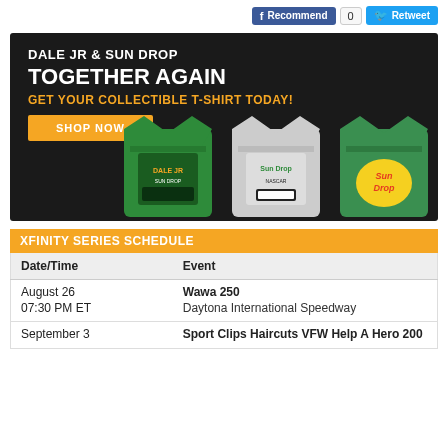[Figure (screenshot): Social sharing buttons: Facebook Recommend (count 0) and Twitter Retweet]
[Figure (infographic): Dale JR & Sun Drop Together Again – Get Your Collectible T-Shirt Today! Shop Now banner with three t-shirts on dark background]
| Date/Time | Event |
| --- | --- |
| August 26
07:30 PM ET | Wawa 250
Daytona International Speedway |
| September 3 | Sport Clips Haircuts VFW Help A Hero 200 |